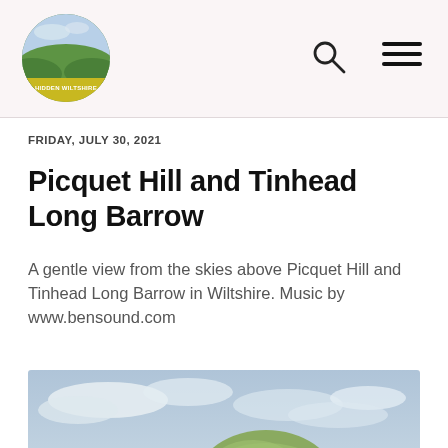Hidden Wiltshire — navigation header with logo, search icon, and hamburger menu
FRIDAY, JULY 30, 2021
Picquet Hill and Tinhead Long Barrow
A gentle view from the skies above Picquet Hill and Tinhead Long Barrow in Wiltshire. Music by www.bensound.com
[Figure (photo): Landscape photo showing a large grassy mound (long barrow) in the background with trees in the middle ground and a bright yellow-green field in the foreground, under a partly cloudy sky.]